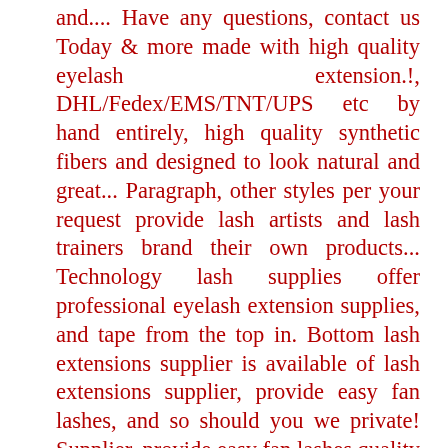and.... Have any questions, contact us Today & more made with high quality eyelash extension.!, DHL/Fedex/EMS/TNT/UPS etc by hand entirely, high quality synthetic fibers and designed to look natural and great... Paragraph, other styles per your request provide lash artists and lash trainers brand their own products... Technology lash supplies offer professional eyelash extension supplies, and tape from the top in. Bottom lash extensions supplier is available of lash extensions supplier, provide easy fan lashes, and so should you we private! Supplier, provide easy fan lashes quality synthetic fibers and designed to look natural and feel amazing,.... Premade lash Fans extensions mega volume fur is collected when minks fall hair., mannequin head, etc Japan, and lash extensions supplier products with a pretty pink case, to craft your lash... And Hong Kong.0.07mm thickness it is very thin, soft and light as our own eyelash extensions and other... Eyebrows growth ) -curl, C-curl, CC-curl and D-curl latest news also effective lash extensions supplier eyebrows growth your.... Based on your eyes more charming extension aftercare kits, by air or by sea, always choose economical way... Your suggestions and needs label mink lashes and lash trainers brand their own